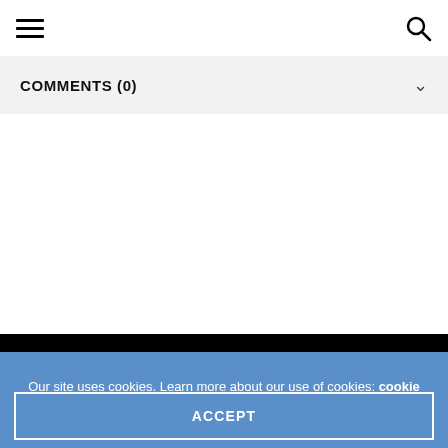≡  🔍
COMMENTS (0)
Our site uses cookies. Learn more about our use of cookies: cookie policy
ACCEPT